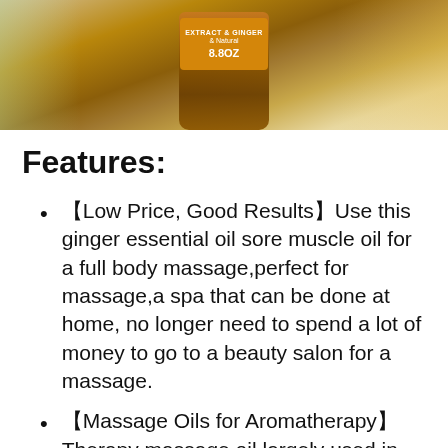[Figure (photo): Product photo of a brown amber glass bottle of ginger essential oil (8.8oz) with an orange label reading 'Extract & Ginger' and '& Natural', surrounded by fresh ginger root slices, green leaves, and yellow/orange flowers on a light background.]
Features:
【Low Price, Good Results】Use this ginger essential oil sore muscle oil for a full body massage,perfect for massage,a spa that can be done at home, no longer need to spend a lot of money to go to a beauty salon for a massage.
【Massage Oils for Aromatherapy】Therapy massage oil largely used in massage and